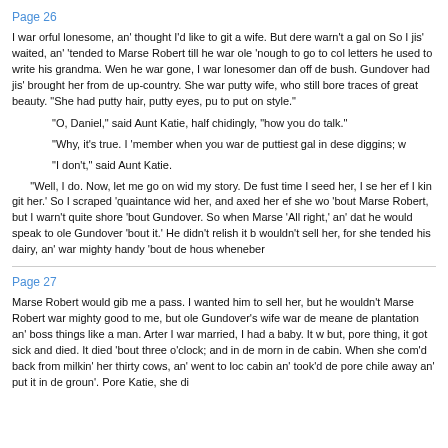Page 26
I war orful lonesome, an' thought I'd like to git a wife. But dere warn't a gal on... So I jis' waited, an' 'tended to Marse Robert till he war ole 'nough to go to col... letters he used to write his grandma. Wen he war gone, I war lonesomer dan... off de bush. Gundover had jis' brought her from de up-country. She war putty... wife, who still bore traces of great beauty. "She had putty hair, putty eyes, pu... to put on style."
"O, Daniel," said Aunt Katie, half chidingly, "how you do talk."
"Why, it's true. I 'member when you war de puttiest gal in dese diggins; w...
"I don't," said Aunt Katie.
"Well, I do. Now, let me go on wid my story. De fust time I seed her, I se... her ef I kin git her.' So I scraped 'quaintance wid her, and axed her ef she wo... 'bout Marse Robert, but I warn't quite shore 'bout Gundover. So when Marse... 'All right,' an' dat he would speak to ole Gundover 'bout it.' He didn't relish it b... wouldn't sell her, for she tended his dairy, an' war mighty handy 'bout de hous... wheneber
Page 27
Marse Robert would gib me a pass. I wanted him to sell her, but he wouldn't... Marse Robert war mighty good to me, but ole Gundover's wife war de meane... de plantation an' boss things like a man. Arter I war married, I had a baby. It w... but, pore thing, it got sick and died. It died 'bout three o'clock; and in de morn... in de cabin. When she com'd back from milkin' her thirty cows, an' went to loc... cabin an' took'd de pore chile away an' put it in de groun'. Pore Katie, she di...